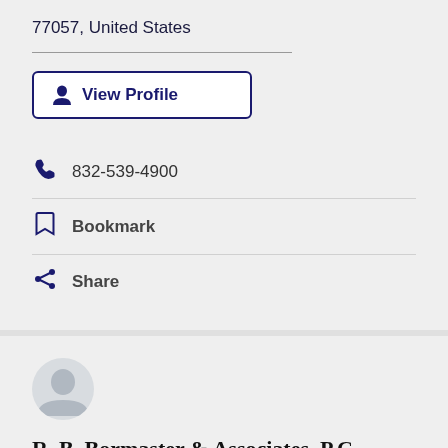77057, United States
View Profile
832-539-4900
Bookmark
Share
R. B. Bormaster & Associates, P.C.
Truck Accidents